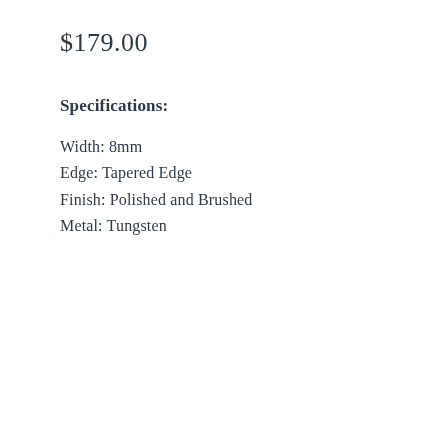$179.00
Specifications:
Width: 8mm
Edge: Tapered Edge
Finish: Polished and Brushed
Metal: Tungsten